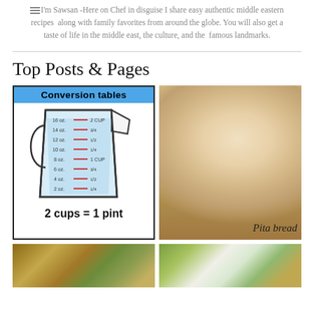I'm Sawsan -Here on Chef in disguise I share easy authentic middle eastern recipes along with family favorites from around the globe. You will also get a taste of life in the middle east, the culture, and the famous landmarks.
Top Posts & Pages
[Figure (infographic): Conversion tables infographic showing a measuring cup with oz to cup conversions, labeled '2 cups = 1 pint']
[Figure (photo): Photo of pita bread stacked on a wooden cutting board with a red decorative cloth, labeled 'Pita bread']
[Figure (photo): Food photo showing a dish with colorful ingredients]
[Figure (photo): Food photo showing a dish with green herbs and white sauce/yogurt]